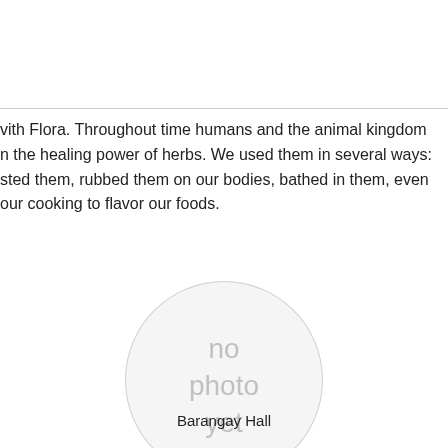vith Flora. Throughout time humans and the animal kingdom n the healing power of herbs. We used them in several ways: sted them, rubbed them on our bodies, bathed in them, even our cooking to flavor our foods.
[Figure (photo): Circular placeholder image with text 'no photo yet' in light gray]
Barangay Hall